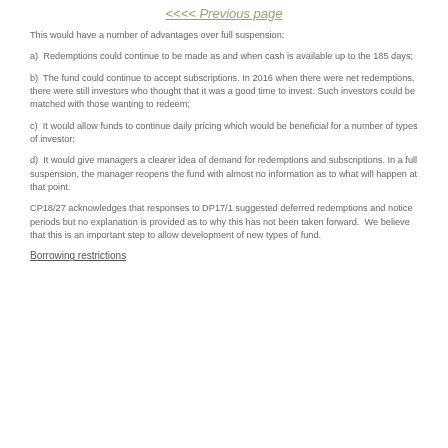<<<< Previous page
This would have a number of advantages over full suspension:
a)  Redemptions could continue to be made as and when cash is available up to the 185 days;
b)  The fund could continue to accept subscriptions. In 2016 when there were net redemptions, there were still investors who thought that it was a good time to invest. Such investors could be matched with those wanting to redeem;
c)  It would allow funds to continue daily pricing which would be beneficial for a number of types of investor;
d)  It would give managers a clearer idea of demand for redemptions and subscriptions. In a full suspension, the manager reopens the fund with almost no information as to what will happen at that point.
CP18/27 acknowledges that responses to DP17/1 suggested deferred redemptions and notice periods but no explanation is provided as to why this has not been taken forward.  We believe that this is an important step to allow development of new types of fund.
Borrowing restrictions
We believe that there are other provisions that…